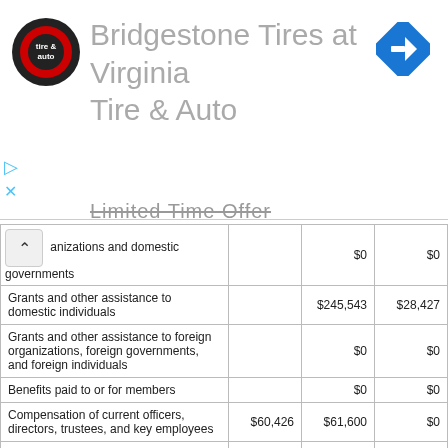[Figure (other): Advertisement banner for Bridgestone Tires at Virginia Tire & Auto with logo and navigation icon, showing 'Limited Time Offer' text]
| Description |  | Col2 | Col3 |
| --- | --- | --- | --- |
| anizations and domestic governments |  | $0 | $0 |
| Grants and other assistance to domestic individuals |  | $245,543 | $28,427 |
| Grants and other assistance to foreign organizations, foreign governments, and foreign individuals |  | $0 | $0 |
| Benefits paid to or for members |  | $0 | $0 |
| Compensation of current officers, directors, trustees, and key employees | $60,426 | $61,600 | $0 |
| Compensation not included above, to disqualified persons |  | $0 | $0 |
| Other salaries and wages | $0 | $12,645 | $74,254 |
| Pension plan accruals and contributions |  | $0 | $0 |
| Other employee benefits |  | $0 | $0 |
| Payroll taxes | $0 | $5,87_ | $5,866 |
| Fees for services (non-employees) |  |  |  |